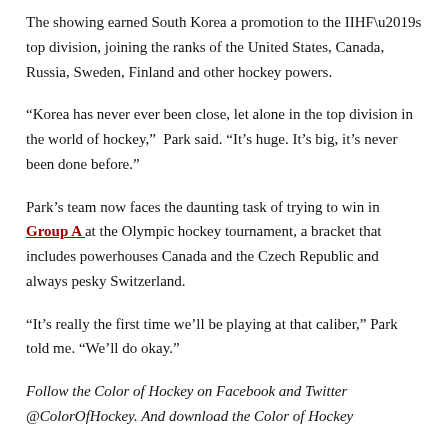The showing earned South Korea a promotion to the IIHF's top division, joining the ranks of the United States, Canada, Russia, Sweden, Finland and other hockey powers.
“Korea has never ever been close, let alone in the top division in the world of hockey,”  Park said. “It’s huge. It’s big, it’s never been done before.”
Park’s team now faces the daunting task of trying to win in Group A at the Olympic hockey tournament, a bracket that includes powerhouses Canada and the Czech Republic and always pesky Switzerland.
“It’s really the first time we’ll be playing at that caliber,” Park told me. “We’ll do okay.”
Follow the Color of Hockey on Facebook and Twitter @ColorOfHockey. And download the Color of Hockey